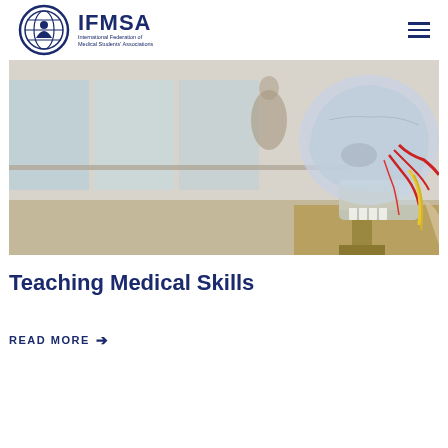IFMSA International Federation of Medical Students' Associations
[Figure (photo): A translucent anatomical skull model with detailed nerves and blood vessels (red and yellow) visible, displayed on a stand in a medical education setting with a blurred hallway background.]
Teaching Medical Skills
READ MORE →